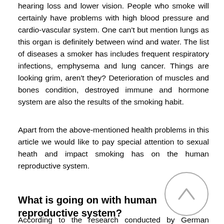hearing loss and lower vision. People who smoke will certainly have problems with high blood pressure and cardio-vascular system. One can't but mention lungs as this organ is definitely between wind and water. The list of diseases a smoker has includes frequent respiratory infections, emphysema and lung cancer. Things are looking grim, aren't they? Deterioration of muscles and bones condition, destroyed immune and hormone system are also the results of the smoking habit.
Apart from the above-mentioned health problems in this article we would like to pay special attention to sexual heath and impact smoking has on the human reproductive system.
What is going on with human reproductive system?
According to the research conducted by German scientists